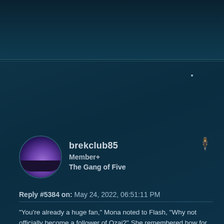brekclub85
Member+
The Gang of Five
Reply #5384 on: May 24, 2022, 06:51:11 PM
"You're already a huge fan," Mona noted to Flash, "Why not officially become a follower of Ozai?" She remembered how for the past few weeks Flash had been eating an Ozai cereal for breakfast each morning.
"How many others live at this shrine besides you and your dad?" Ollie asked Zoai. The friends had all purchased some merchandise from the shop.
...............